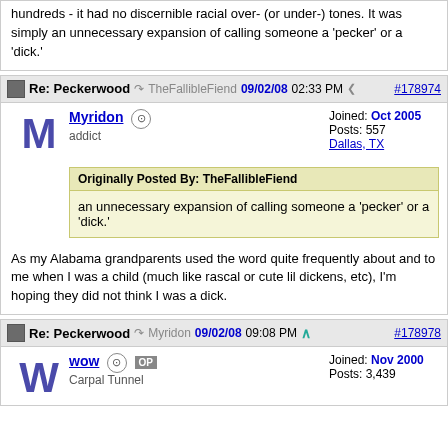hundreds - it had no discernible racial over- (or under-) tones. It was simply an unnecessary expansion of calling someone a 'pecker' or a 'dick.'
Re: Peckerwood | TheFallibleFiend | 09/02/08 02:33 PM | #178974 | Myridon | addict | Joined: Oct 2005 | Posts: 557 | Dallas, TX
Originally Posted By: TheFallibleFiend
an unnecessary expansion of calling someone a 'pecker' or a 'dick.'
As my Alabama grandparents used the word quite frequently about and to me when I was a child (much like rascal or cute lil dickens, etc), I'm hoping they did not think I was a dick.
Re: Peckerwood | Myridon | 09/02/08 09:08 PM | #178978 | wow | OP | Carpal Tunnel | Joined: Nov 2000 | Posts: 3,439